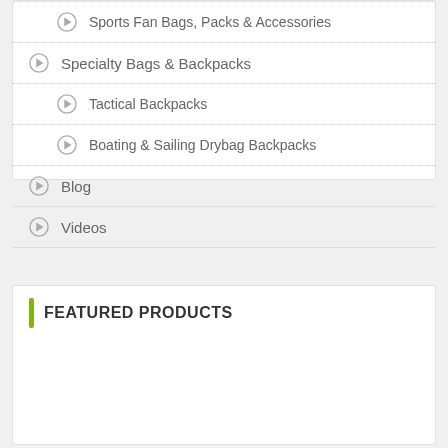Sports Fan Bags, Packs & Accessories
Specialty Bags & Backpacks
Tactical Backpacks
Boating & Sailing Drybag Backpacks
Blog
Videos
FEATURED PRODUCTS